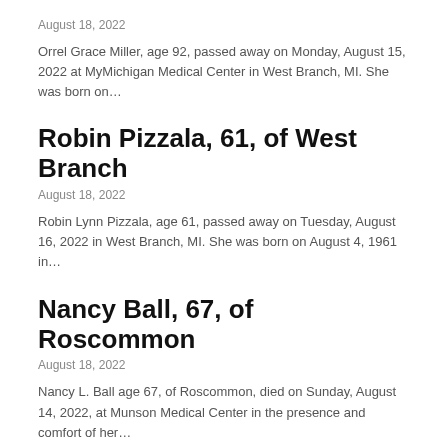August 18, 2022
Orrel Grace Miller, age 92, passed away on Monday, August 15, 2022 at MyMichigan Medical Center in West Branch, MI. She was born on…
Robin Pizzala, 61, of West Branch
August 18, 2022
Robin Lynn Pizzala, age 61, passed away on Tuesday, August 16, 2022 in West Branch, MI. She was born on August 4, 1961 in…
Nancy Ball, 67, of Roscommon
August 18, 2022
Nancy L. Ball age 67, of Roscommon, died on Sunday, August 14, 2022, at Munson Medical Center in the presence and comfort of her…